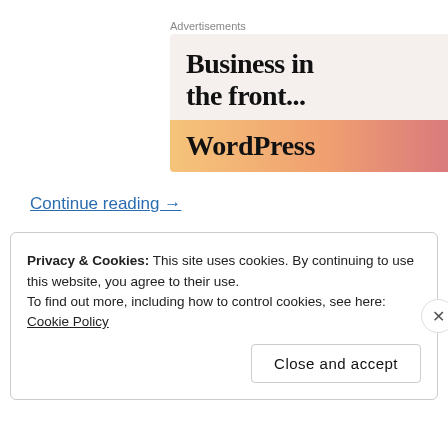Advertisements
[Figure (advertisement): WordPress advertisement banner with text 'Business in the front...' on light beige background, and 'WordPress' text on gradient orange-pink background bar]
Continue reading →
Privacy & Cookies: This site uses cookies. By continuing to use this website, you agree to their use. To find out more, including how to control cookies, see here: Cookie Policy
Close and accept